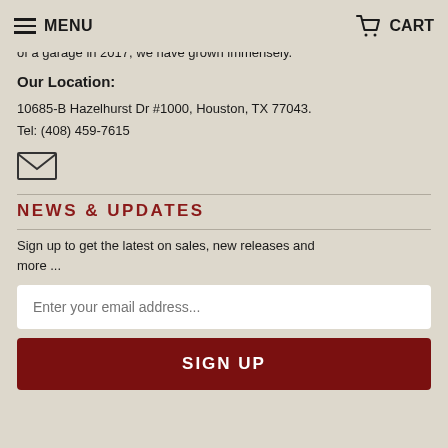MENU | CART
Welcome to Supply Epics. Our family-run store shares our passion for Toys & Collectibles. Started as a hobby out of a garage in 2017, we have grown immensely.
Our Location:
10685-B Hazelhurst Dr #1000, Houston, TX 77043.
Tel: (408) 459-7615
[Figure (illustration): Envelope icon (mail/email symbol)]
NEWS & UPDATES
Sign up to get the latest on sales, new releases and more ...
Enter your email address...
SIGN UP